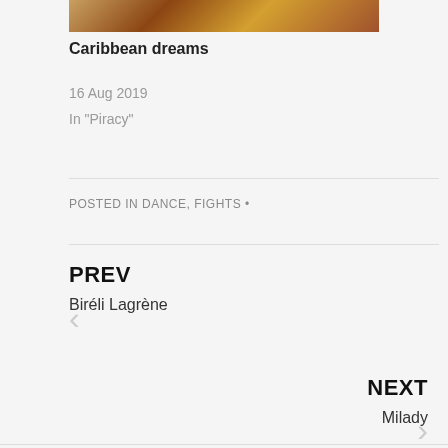[Figure (photo): Top portion of a painting or illustration with warm orange/brown tones, partially visible at the top of the page]
Caribbean dreams
16 Aug 2019
In "Piracy"
POSTED IN DANCE, FIGHTS •
PREV
Biréli Lagrène
NEXT
Milady